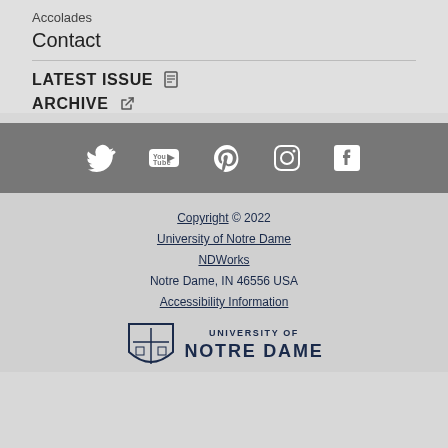Accolades
Contact
LATEST ISSUE 📄
ARCHIVE ↗
[Figure (infographic): Social media icon bar with Twitter, YouTube, Pinterest, Instagram, and Facebook icons on a grey background]
Copyright © 2022 University of Notre Dame NDWorks Notre Dame, IN 46556 USA Accessibility Information
[Figure (logo): University of Notre Dame logo with shield and text]